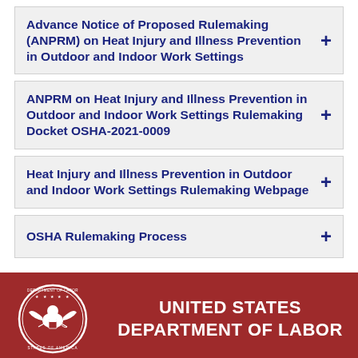Advance Notice of Proposed Rulemaking (ANPRM) on Heat Injury and Illness Prevention in Outdoor and Indoor Work Settings
ANPRM on Heat Injury and Illness Prevention in Outdoor and Indoor Work Settings Rulemaking Docket OSHA-2021-0009
Heat Injury and Illness Prevention in Outdoor and Indoor Work Settings Rulemaking Webpage
OSHA Rulemaking Process
[Figure (logo): United States Department of Labor seal, circular emblem in white on dark red background]
UNITED STATES DEPARTMENT OF LABOR
Occupational Safety & Health Administration
200 Constitution Ave NW
Washington, DC 20210